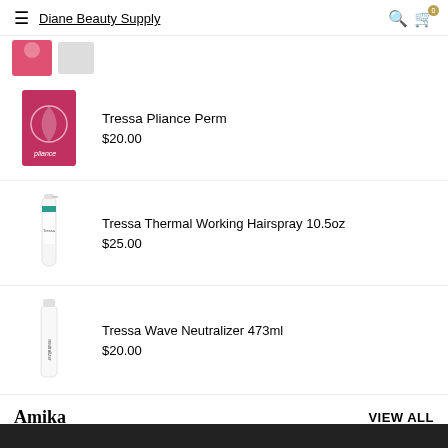Diane Beauty Supply
[Figure (photo): Partial product image, cropped at top]
Tressa Pliance Perm
$20.00
Tressa Thermal Working Hairspray 10.5oz
$25.00
Tressa Wave Neutralizer 473ml
$20.00
Amika
VIEW ALL